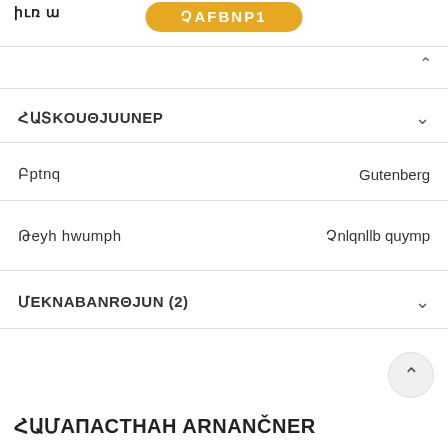իւռ ա
ՉAFԲNP1
ՀԱՏԿՈՒԹՅУՆՆԵՐ
Բրենդ   Gutenberg
Թեյի համար   Չուզոնե գավաթ
ՄEKNABANRԹJUN (2)
ՀԱՄAPASTAHAN ARNANČNER